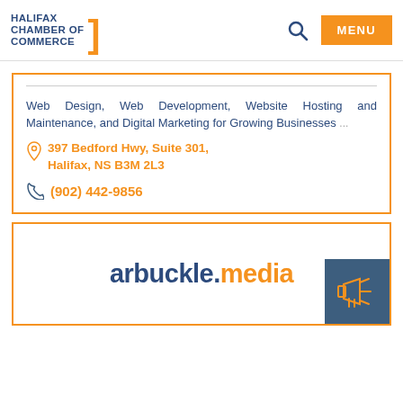Halifax Chamber of Commerce — MENU
Web Design, Web Development, Website Hosting and Maintenance, and Digital Marketing for Growing Businesses ...
397 Bedford Hwy, Suite 301, Halifax, NS B3M 2L3
(902) 442-9856
[Figure (logo): arbuckle.media logo with megaphone icon badge]